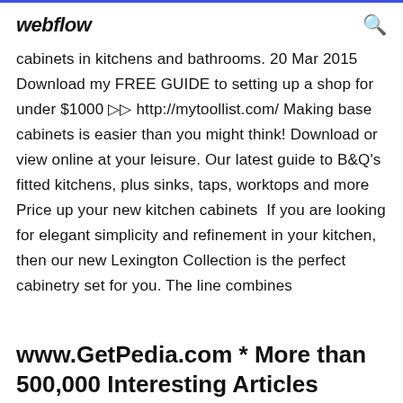webflow
cabinets in kitchens and bathrooms. 20 Mar 2015 Download my FREE GUIDE to setting up a shop for under $1000 ▷▷ http://mytoollist.com/ Making base cabinets is easier than you might think! Download or view online at your leisure. Our latest guide to B&Q's fitted kitchens, plus sinks, taps, worktops and more Price up your new kitchen cabinets  If you are looking for elegant simplicity and refinement in your kitchen, then our new Lexington Collection is the perfect cabinetry set for you. The line combines
www.GetPedia.com * More than 500,000 Interesting Articles